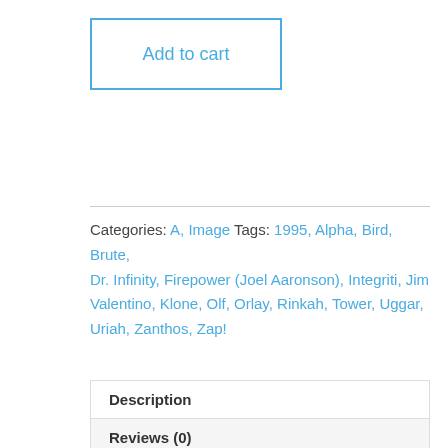Add to cart
Categories: A, Image Tags: 1995, Alpha, Bird, Brute, Dr. Infinity, Firepower (Joel Aaronson), Integriti, Jim Valentino, Klone, Olf, Orlay, Rinkah, Tower, Uggar, Uriah, Zanthos, Zap!
Description
Reviews (0)
Description
[Figure (illustration): Comic book cover or interior art showing 'The Alliance' title text in orange/yellow letters on a dark space background with stars and purple nebula]